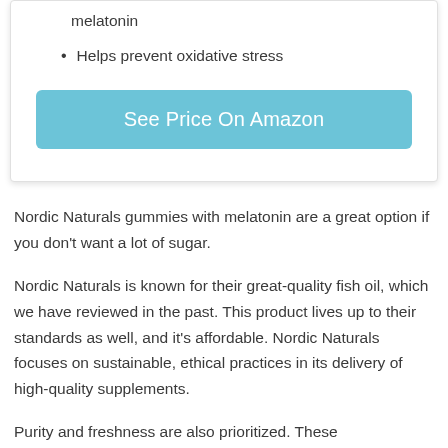melatonin
Helps prevent oxidative stress
[Figure (other): Light blue button labeled 'See Price On Amazon']
Nordic Naturals gummies with melatonin are a great option if you don't want a lot of sugar.
Nordic Naturals is known for their great-quality fish oil, which we have reviewed in the past. This product lives up to their standards as well, and it's affordable. Nordic Naturals focuses on sustainable, ethical practices in its delivery of high-quality supplements.
Purity and freshness are also prioritized. These